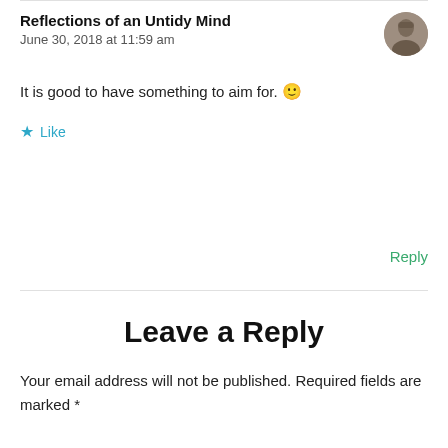Reflections of an Untidy Mind
June 30, 2018 at 11:59 am
It is good to have something to aim for. 🙂
Like
Reply
Leave a Reply
Your email address will not be published. Required fields are marked *